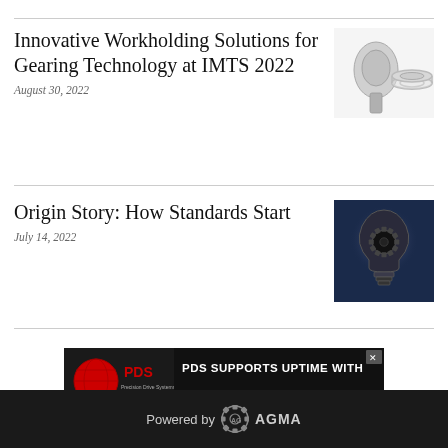Innovative Workholding Solutions for Gearing Technology at IMTS 2022
August 30, 2022
[Figure (photo): Workholding components – gear arbors and disk-shaped workholding parts on white background]
Origin Story: How Standards Start
July 14, 2022
[Figure (photo): Illuminated lightbulb with dark mechanical gear interior on dark blue background]
[Figure (other): PDS advertisement banner: PDS logo (red globe with funnel) with text 'PDS SUPPORTS UPTIME WITH 3-5 DAY SPINDLE DELIVERY' on black background]
Powered by AGMA